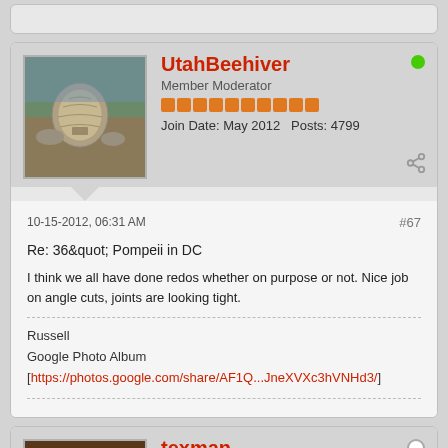UtahBeehiver
Member Moderator
Join Date: May 2012   Posts: 4799
10-15-2012, 06:31 AM
#67
Re: 36" Pompeii in DC
I think we all have done redos whether on purpose or not. Nice job on angle cuts, joints are looking tight.
Russell
Google Photo Album
[https://photos.google.com/share/AF1Q...JneXVXc3hVNHd3/]
texman
Master Builder
Join Date: Nov 2009   Posts: 724